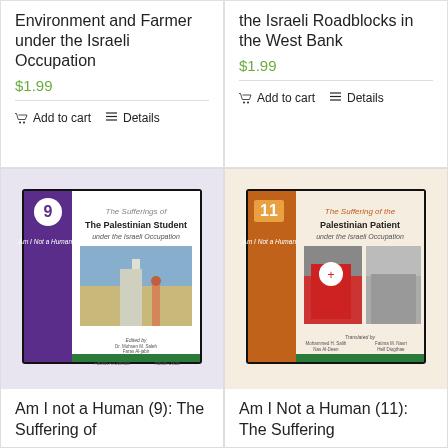Environment and Farmer under the Israeli Occupation
$1.99
Add to cart | Details
the Israeli Roadblocks in the West Bank
$1.99
Add to cart | Details
[Figure (photo): Book cover: Am I not a Human (9): The Suffering of The Palestinian Student under the Israeli Occupation. Purple/black cover with image of student at checkpoint.]
[Figure (photo): Book cover: Am I Not a Human (11): The Suffering of the Palestinian Patient under the Israeli Occupation. Beige/orange cover with medical imagery.]
Am I not a Human (9): The Suffering of
Am I Not a Human (11): The Suffering